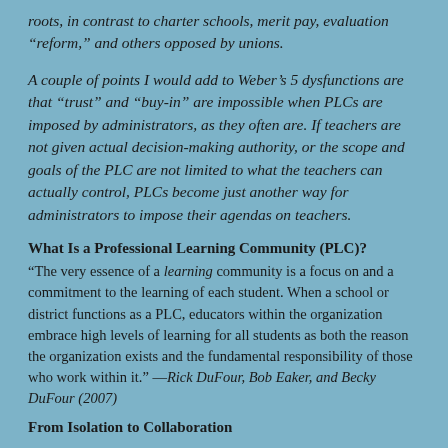roots, in contrast to charter schools, merit pay, evaluation “reform,” and others opposed by unions.
A couple of points I would add to Weber’s 5 dysfunctions are that “trust” and “buy-in” are impossible when PLCs are imposed by administrators, as they often are. If teachers are not given actual decision-making authority, or the scope and goals of the PLC are not limited to what the teachers can actually control, PLCs become just another way for administrators to impose their agendas on teachers.
What Is a Professional Learning Community (PLC)?
“The very essence of a learning community is a focus on and a commitment to the learning of each student. When a school or district functions as a PLC, educators within the organization embrace high levels of learning for all students as both the reason the organization exists and the fundamental responsibility of those who work within it.” —Rick DuFour, Bob Eaker, and Becky DuFour (2007)
From Isolation to Collaboration